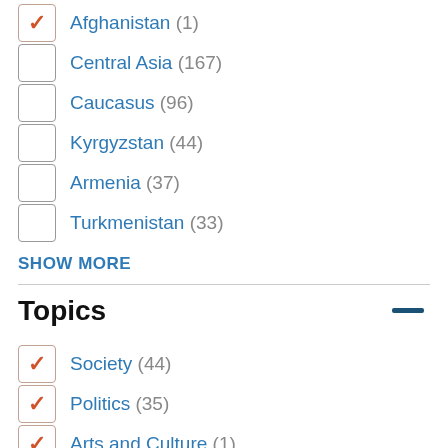Afghanistan (1)
Central Asia (167)
Caucasus (96)
Kyrgyzstan (44)
Armenia (37)
Turkmenistan (33)
SHOW MORE
Topics
Society (44)
Politics (35)
Arts and Culture (1)